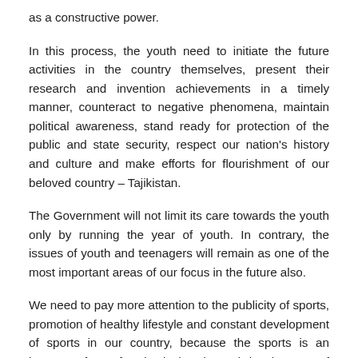as a constructive power.
In this process, the youth need to initiate the future activities in the country themselves, present their research and invention achievements in a timely manner, counteract to negative phenomena, maintain political awareness, stand ready for protection of the public and state security, respect our nation's history and culture and make efforts for flourishment of our beloved country – Tajikistan.
The Government will not limit its care towards the youth only by running the year of youth. In contrary, the issues of youth and teenagers will remain as one of the most important areas of our focus in the future also.
We need to pay more attention to the publicity of sports, promotion of healthy lifestyle and constant development of sports in our country, because the sports is an important factor for physical and moral development of human being